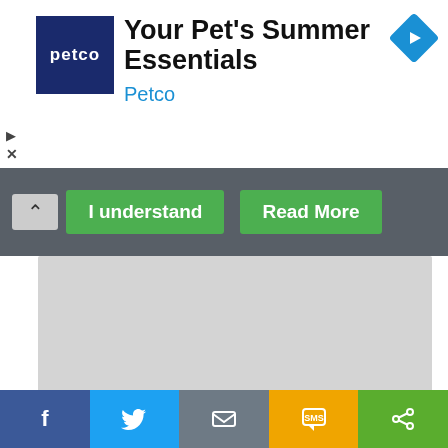[Figure (screenshot): Petco advertisement banner with dark blue square logo showing 'petco' in white, heading 'Your Pet's Summer Essentials', brand name 'Petco' in blue, and a blue navigation arrow diamond icon on the right]
[Figure (screenshot): Cookie consent bar with dark gray background, upward chevron button, green 'I understand' button and green 'Read More' button]
[Figure (screenshot): Gray placeholder content area]
Never provide bank account, credit card details or any other financial information, or make any form of payment, when applying for a job. If you are ever asked to do this by a recruiter on Pure Jobs please click the Report button or contact us with the advertiser's company name and the title of the job vacancy. You should not send any money to anyone. A genuine
[Figure (screenshot): Social share bar with Facebook (blue), Twitter (light blue), Email (gray), SMS (amber/yellow), and Share (green) buttons at the bottom]